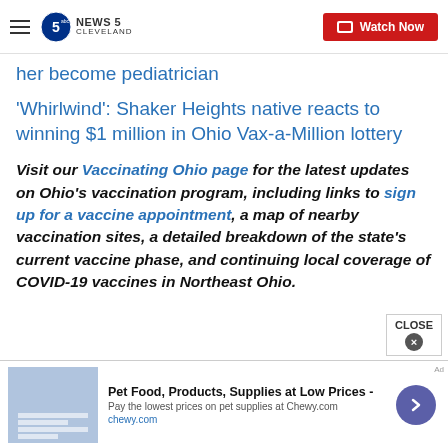News 5 Cleveland — Watch Now
her become pediatrician
'Whirlwind': Shaker Heights native reacts to winning $1 million in Ohio Vax-a-Million lottery
Visit our Vaccinating Ohio page for the latest updates on Ohio's vaccination program, including links to sign up for a vaccine appointment, a map of nearby vaccination sites, a detailed breakdown of the state's current vaccine phase, and continuing local coverage of COVID-19 vaccines in Northeast Ohio.
[Figure (screenshot): Advertisement banner: Pet Food, Products, Supplies at Low Prices - chewy.com]
CLOSE ×